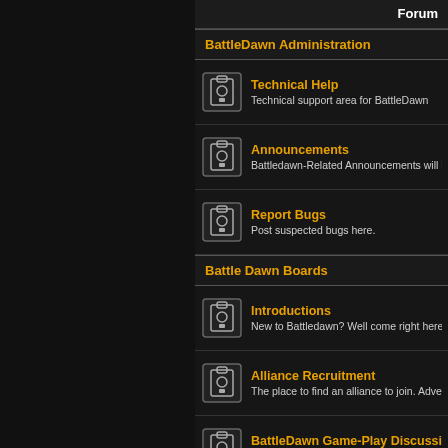Forum
BattleDawn Administration
Technical Help
Technical support area for BattleDawn
Announcements
Battledawn-Related Announcements will be placed here!
Report Bugs
Post suspected bugs here.
Battle Dawn Boards
Introductions
New to Battledawn? Well come right here and introduce yourse
Alliance Recruitment
The place to find an alliance to join. Advertise your alliance her
BattleDawn Game-Play Discussions
Declare war, Declare peace. It is up to you- the revolution has s
Newbie Questions
New? Need help understanding? Want to help a new player un
Advanced Gameplay Q&A
Players helping players. Learn, teach, master.
Subforum: Strategy & Player-Made Guides
Non-Battle Dawn Boards
Discussion And Debates